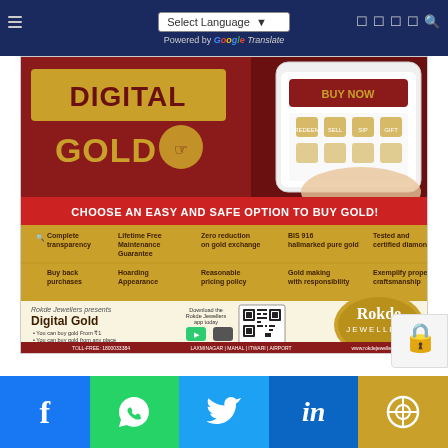Select Language ▾  Powered by Google Translate
[Figure (illustration): Rokde Jewellers Digital Gold advertisement. Features a hand holding a smartphone with a 'BUY NOW' gold-themed app. Text says 'DIGITAL GOLD' in large letters. Red banner: 'CHOOSE AN EASY AND SAFE OPTION TO BUY GOLD!'. Gold section lists features: Complete transparency, Lifetime Free Maintenance Guarantee, Zero reduction on gold exchange, BIS 916 hallmarked pure gold, Tested and certified diamonds, Buy back purchases, Hoarding Appearance, Reasonable pricing policy, Gold making with responsibility, Exemplify proper craftsmanship. Lower section: 'Rokde Jewellers presents Digital Gold'. Bullet points: You can buy gold From ₹1, You can buy gold from any place, Investment according to need and convenience, Free secure storage facility available. QR code and Rokde Jewellers logo. Footer: TOLL-FREE: 1800033384, LAXMINAGAR | MAHAL | ITWARI | AIRPORT, www.rokdejewellers.in]
Facebook  WhatsApp  Twitter  LinkedIn  Link